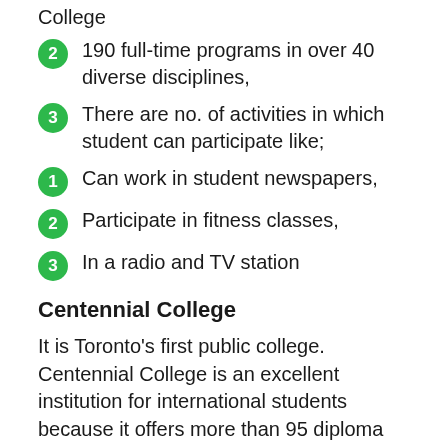College
190 full-time programs in over 40 diverse disciplines,
There are no. of activities in which student can participate like;
Can work in student newspapers,
Participate in fitness classes,
In a radio and TV station
Centennial College
It is Toronto's first public college. Centennial College is an excellent institution for international students because it offers more than 95 diploma and certificate programs in engineering technology,